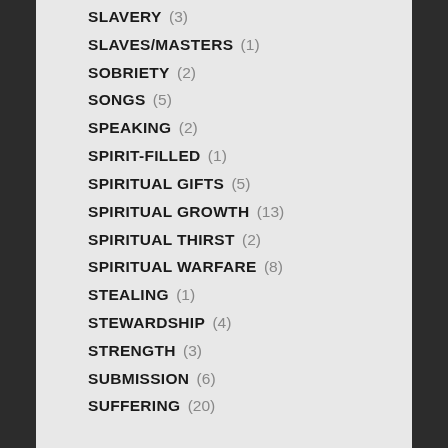SLAVERY (3)
SLAVES/MASTERS (1)
SOBRIETY (2)
SONGS (5)
SPEAKING (2)
SPIRIT-FILLED (1)
SPIRITUAL GIFTS (5)
SPIRITUAL GROWTH (13)
SPIRITUAL THIRST (2)
SPIRITUAL WARFARE (8)
STEALING (1)
STEWARDSHIP (4)
STRENGTH (3)
SUBMISSION (6)
SUFFERING (20)